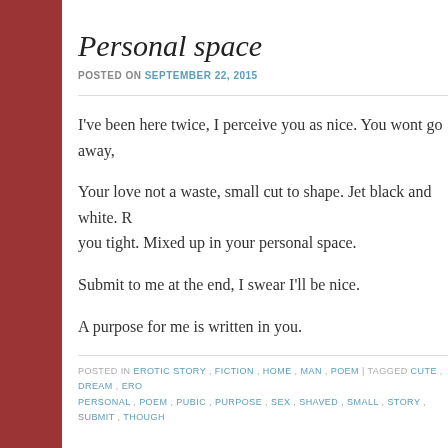Personal space
POSTED ON SEPTEMBER 22, 2015
I've been here twice, I perceive you as nice. You wont go away,
Your love not a waste, small cut to shape. Jet black and white. P… you tight. Mixed up in your personal space.
Submit to me at the end, I swear I'll be nice.
A purpose for me is written in you.
POSTED IN EROTIC STORY , FICTION , HOME , MAN , POEM | TAGGED CUTE , DREAM , ERO… PERSONAL , POEM , PUBIC , PURPOSE , SEX , SHAVED , SMALL , STORY , SUBMIT , THOUGH…